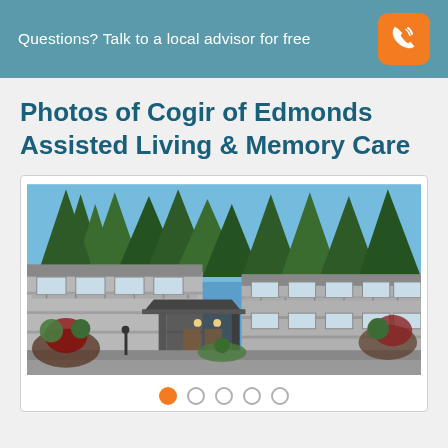Questions? Talk to a local advisor for free
Photos of Cogir of Edmonds Assisted Living & Memory Care
[Figure (photo): Exterior photo of Cogir of Edmonds Assisted Living & Memory Care facility showing a multi-story building with balconies, a covered entrance/porte-cochère, landscaping with trees and shrubs, under a blue sky.]